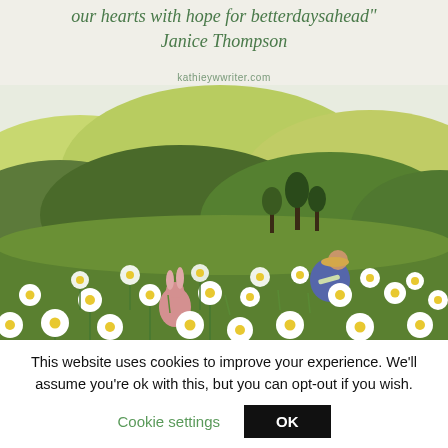our hearts with hope for betterdaysahead" Janice Thompson
kathieywwriter.com
[Figure (illustration): Watercolor illustration of a pastoral hillside scene with rolling green and yellow hills in the background, trees, a girl in a blue dress with a straw hat sitting and reading among a field of white and yellow daffodils, and a pink rabbit in the foreground among the flowers.]
This website uses cookies to improve your experience. We'll assume you're ok with this, but you can opt-out if you wish.
Cookie settings
OK